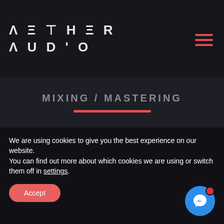AETHERON AUDIO
MIXING / MASTERING
[Figure (photo): Close-up photo of a person holding over-ear headphones with a dark, cinematic background]
We are using cookies to give you the best experience on our website.
You can find out more about which cookies we are using or switch them off in settings.
Accept